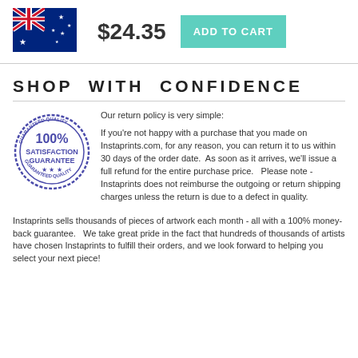[Figure (illustration): Australian flag image]
$24.35
ADD TO CART
SHOP WITH CONFIDENCE
[Figure (illustration): 100% Satisfaction Guarantee stamp/seal in blue]
Our return policy is very simple:

If you're not happy with a purchase that you made on Instaprints.com, for any reason, you can return it to us within 30 days of the order date.  As soon as it arrives, we'll issue a full refund for the entire purchase price.   Please note - Instaprints does not reimburse the outgoing or return shipping charges unless the return is due to a defect in quality.
Instaprints sells thousands of pieces of artwork each month - all with a 100% money-back guarantee.   We take great pride in the fact that hundreds of thousands of artists have chosen Instaprints to fulfill their orders, and we look forward to helping you select your next piece!